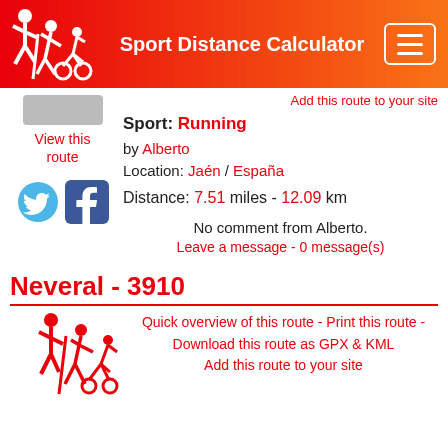Sport Distance Calculator
Add this route to your site
View this route
Sport: Running
by Alberto
Location: Jaén / España
Distance: 7.51 miles - 12.09 km
No comment from Alberto.
Leave a message - 0 message(s)
Neveral - 3910
Quick overview of this route - Print this route - Download this route as GPX & KML Add this route to your site